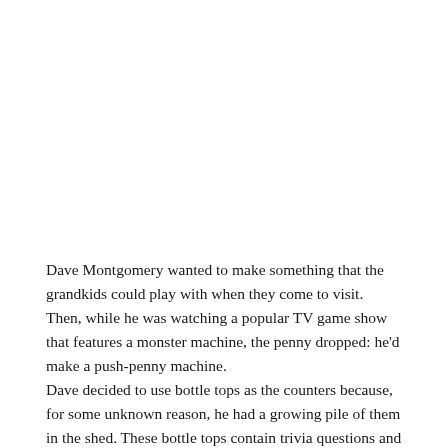Dave Montgomery wanted to make something that the grandkids could play with when they come to visit. Then, while he was watching a popular TV game show that features a monster machine, the penny dropped: he'd make a push-penny machine.
Dave decided to use bottle tops as the counters because, for some unknown reason, he had a growing pile of them in the shed. These bottle tops contain trivia questions and answers — handy for when adults want to play with the machine. Follo...